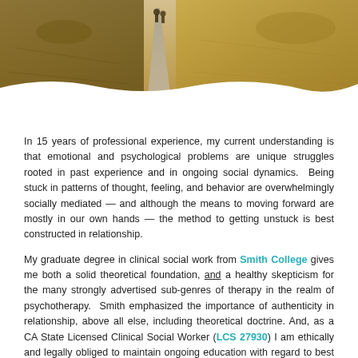[Figure (photo): Outdoor landscape photo showing people walking on a dirt/gravel path through a field with dry grass and golden tones. A curved white wave shape separates the photo from the text content below.]
In 15 years of professional experience, my current understanding is that emotional and psychological problems are unique struggles rooted in past experience and in ongoing social dynamics.  Being stuck in patterns of thought, feeling, and behavior are overwhelmingly socially mediated — and although the means to moving forward are mostly in our own hands — the method to getting unstuck is best constructed in relationship.
My graduate degree in clinical social work from Smith College gives me both a solid theoretical foundation, and a healthy skepticism for the many strongly advertised sub-genres of therapy in the realm of psychotherapy.  Smith emphasized the importance of authenticity in relationship, above all else, including theoretical doctrine. And, as a CA State Licensed Clinical Social Worker (LCS 27930) I am ethically and legally obliged to maintain ongoing education with regard to best practices in the field of psychotherapy; incorporating new practice models and techniques as I find them helpful and applicable to my clients' needs.  Despite this formal training, I strongly believe that years of active therapeutic...